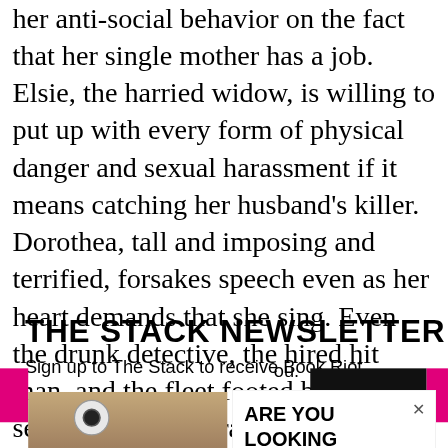her anti-social behavior on the fact that her single mother has a job. Elsie, the harried widow, is willing to put up with every form of physical danger and sexual harassment if it means catching her husband's killer. Dorothea, tall and imposing and terrified, forsakes speech even as her heart demands that she sing. Even the drunk detective, the hired hit man, and the fleet footed boxer, seeming stock characters from central casting, take on real life in Feiffer's knowing hands.
THE STACK NEWSLETTER
Sign up to The Stack to receive Book Riot
[Figure (other): Advertisement popup overlay showing a security camera product ad with text 'ARE YOU LOOKING FOR A SECURITY...' from Trending Gad... | Sponsored, with a close X button. Also shows a hand holding a light-bulb shaped security camera on the left side.]